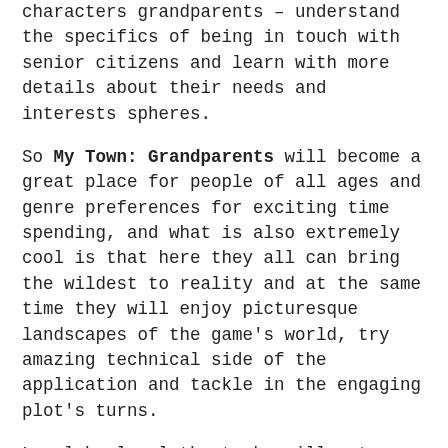characters grandparents – understand the specifics of being in touch with senior citizens and learn with more details about their needs and interests spheres.
So My Town: Grandparents will become a great place for people of all ages and genre preferences for exciting time spending, and what is also extremely cool is that here they all can bring the wildest to reality and at the same time they will enjoy picturesque landscapes of the game's world, try amazing technical side of the application and tackle in the engaging plot's turns.
Level by level the tasks will get harder, and users of My Town: Grandparents will get even bigger desire to continue their journey in this colorful app's world. Besides, players will be able to buy some features for their town for virtual money, so this game is quite similar to Monopoly, while this one is going in online mode. Though, it will not be a problem for the fans of this genre, as mobile playing mode allows players to invite friends to their game, and from this point of